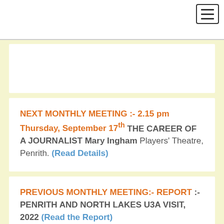[Navigation header with hamburger menu]
NEXT MONTHLY MEETING :- 2.15 pm Thursday, September 17th THE CAREER OF A JOURNALIST Mary Ingham Players' Theatre, Penrith. (Read Details)
PREVIOUS MONTHLY MEETING:- REPORT :- PENRITH AND NORTH LAKES U3A VISIT, 2022 (Read the Report)